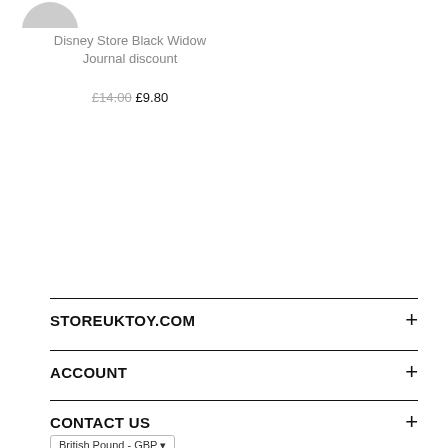[Figure (logo): Partial circular logo/icon at top left, gray]
Disney Store Black Widow Journal discount
£14.00 £9.80
STOREUKTOY.COM
ACCOUNT
CONTACT US
British Pound - GBP